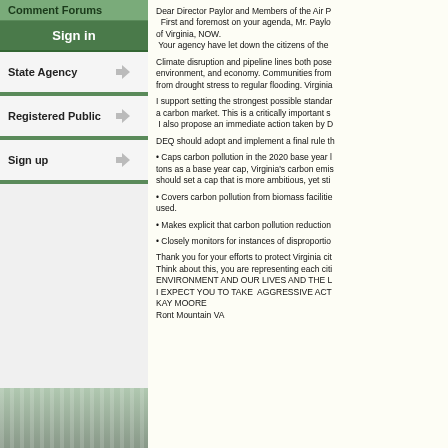Comment Forums
Sign in
State Agency
Registered Public
Sign up
Dear Director Paylor and Members of the Air P
  First and foremost on your agenda, Mr. Paylo
of Virginia, NOW.
 Your agency have let down the citizens of the
Climate disruption and pipeline lines both pose
environment, and economy. Communities from
from drought stress to regular flooding. Virginia
I support setting the strongest possible standar
a carbon market. This is a critically important s
 I also propose an immediate action taken by D
DEQ should adopt and implement a final rule th
• Caps carbon pollution in the 2020 base year l
tons as a base year cap, Virginia's carbon emis
should set a cap that is more ambitious, yet sti
• Covers carbon pollution from biomass facilitie
used.
• Makes explicit that carbon pollution reduction
• Closely monitors for instances of disproportio
Thank you for your efforts to protect Virginia cit
Think about this, you are representing each citi
ENVIRONMENT AND OUR LIVES AND THE L
I EXPECT YOU TO TAKE  AGGRESSIVE ACT
KAY MOORE
Ront Mountain VA